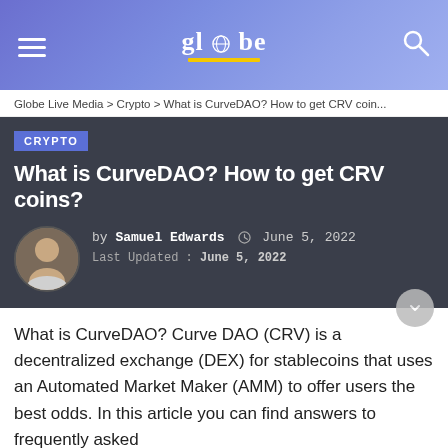Globe Live Media — gl●be [logo] [hamburger menu] [search icon]
Globe Live Media > Crypto > What is CurveDAO? How to get CRV coin...
CRYPTO
What is CurveDAO? How to get CRV coins?
by Samuel Edwards | June 5, 2022
Last Updated: June 5, 2022
What is CurveDAO? Curve DAO (CRV) is a decentralized exchange (DEX) for stablecoins that uses an Automated Market Maker (AMM) to offer users the best odds. In this article you can find answers to frequently asked